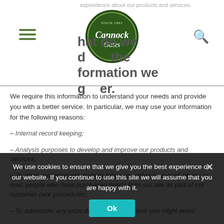espondence about our products and services.
hat do we do the formation we gather.
[Figure (logo): Cannock Gates oval logo, dark green with white script text, 'Since 1881' at top]
We require this information to understand your needs and provide you with a better service. In particular, we may use your information for the following reasons:
– Internal record keeping;
– Analysis purposes to develop and improve our products and services;
– To allow our representatives to follow up, either by e-mail, phone or mail, people who have purchased goods from our site as part of our customer care procedures;
– To administer any prize draws or competitions you might enter;
We use cookies to ensure that we give you the best experience on our website. If you continue to use this site we will assume that you are happy with it.